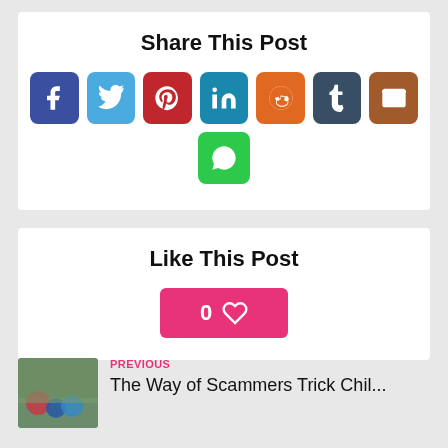Share This Post
[Figure (infographic): Row of social media share buttons: Facebook (dark blue), Twitter (light blue), Pinterest (red), LinkedIn (teal), Reddit (orange), Tumblr (dark slate), Email (brown). Second row: WhatsApp (green).]
Like This Post
[Figure (infographic): Pink like button showing '0' count with a heart icon.]
PREVIOUS
The Way of Scammers Trick Chil...